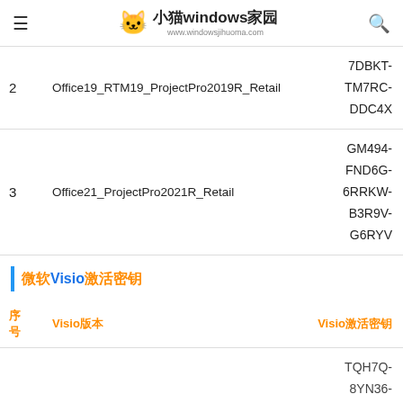小猫windows家园 www.windowsjihuoma.com
| 序号 | 产品名称 | 激活密钥 |
| --- | --- | --- |
| 2 | Office19_RTM19_ProjectPro2019R_Retail | 7DBKT-TM7RC-DDC4X |
| 3 | Office21_ProjectPro2021R_Retail | GM494-FND6G-6RRKW-B3R9V-G6RYV |
微软Visio激活密钥
| 序号 | Visio版本 | Visio激活密钥 |
| --- | --- | --- |
| 1 |  | TQH7Q-8YN36-... |